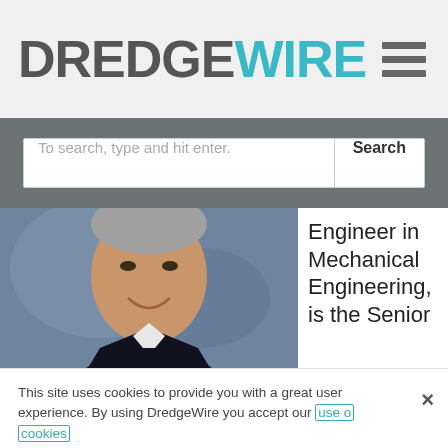DREDGEWIRE
To search, type and hit enter.
[Figure (photo): Headshot of a middle-aged man in a dark shirt smiling, with a blue-grey blurred background]
Engineer in Mechanical Engineering, is the Senior
This site uses cookies to provide you with a great user experience. By using DredgeWire you accept our use of cookies
Accept All Cookies